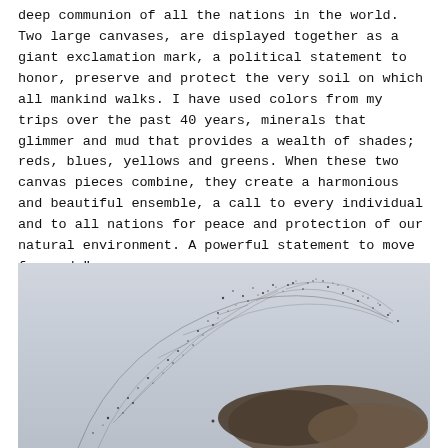deep communion of all the nations in the world. Two large canvases, are displayed together as a giant exclamation mark, a political statement to honor, preserve and protect the very soil on which all mankind walks. I have used colors from my trips over the past 40 years, minerals that glimmer and mud that provides a wealth of shades; reds, blues, yellows and greens. When these two canvas pieces combine, they create a harmonious and beautiful ensemble, a call to every individual and to all nations for peace and protection of our natural environment. A powerful statement to move forward."
[Figure (photo): A photograph showing a wave or splash of dark particles/debris against a light grey-blue sky background, with what appears to be a rocky or textured mass at the lower right.]